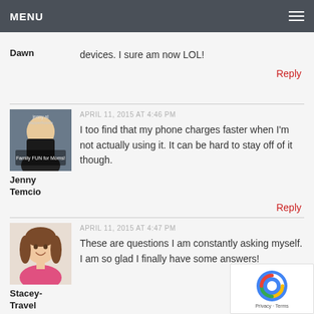MENU
devices. I sure am now LOL!
Dawn
Reply
APRIL 11, 2015 AT 4:46 PM
I too find that my phone charges faster when I'm not actually using it. It can be hard to stay off of it though.
Jenny Temcio
Reply
APRIL 11, 2015 AT 4:47 PM
These are questions I am constantly asking myself. I am so glad I finally have some answers!
Stacey- Travel
Reply